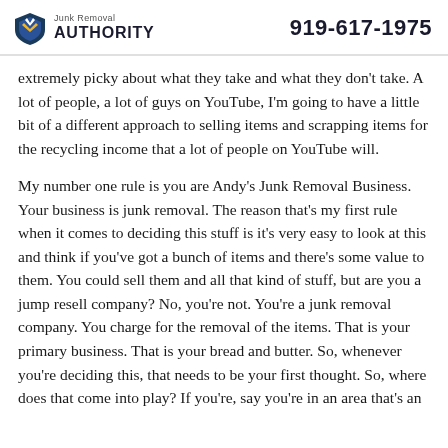Junk Removal AUTHORITY  919-617-1975
extremely picky about what they take and what they don't take. A lot of people, a lot of guys on YouTube, I'm going to have a little bit of a different approach to selling items and scrapping items for the recycling income that a lot of people on YouTube will.
My number one rule is you are Andy's Junk Removal Business. Your business is junk removal. The reason that's my first rule when it comes to deciding this stuff is it's very easy to look at this and think if you've got a bunch of items and there's some value to them. You could sell them and all that kind of stuff, but are you a jump resell company? No, you're not. You're a junk removal company. You charge for the removal of the items. That is your primary business. That is your bread and butter. So, whenever you're deciding this, that needs to be your first thought. So, where does that come into play? If you're, say you're in an area that's an